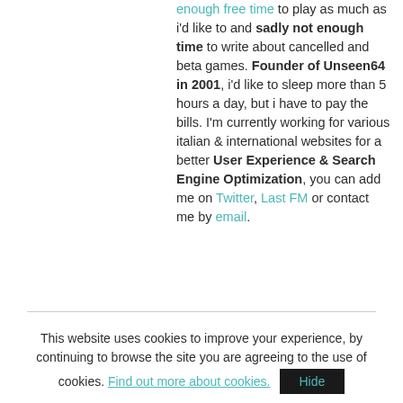enough free time to play as much as i'd like to and sadly not enough time to write about cancelled and beta games. Founder of Unseen64 in 2001, i'd like to sleep more than 5 hours a day, but i have to pay the bills. I'm currently working for various italian & international websites for a better User Experience & Search Engine Optimization, you can add me on Twitter, Last FM or contact me by email.
This website uses cookies to improve your experience, by continuing to browse the site you are agreeing to the use of cookies. Find out more about cookies. Hide